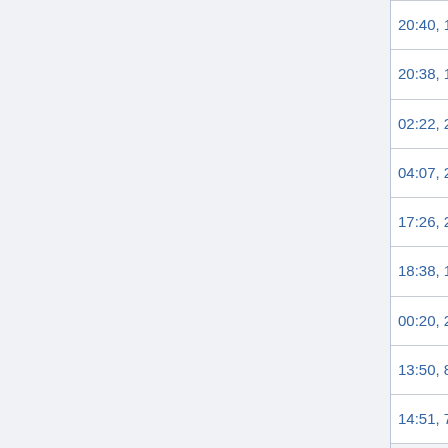| Date | Size |
| --- | --- |
| 20:40, 1 March 2018 | (293 KB) |
| 20:38, 1 March 2018 | (292 KB) |
| 02:22, 24 November 2017 | (290 KB) |
| 04:07, 23 November 2017 | (290 KB) |
| 17:26, 24 October 2017 | (75 KB) |
| 18:38, 15 October 2017 | (331 KB) |
| 00:20, 22 September 2017 | (67 KB) |
| 13:50, 8 September 2017 | (67 KB) |
| 14:51, 7 August 2017 | (66 KB) |